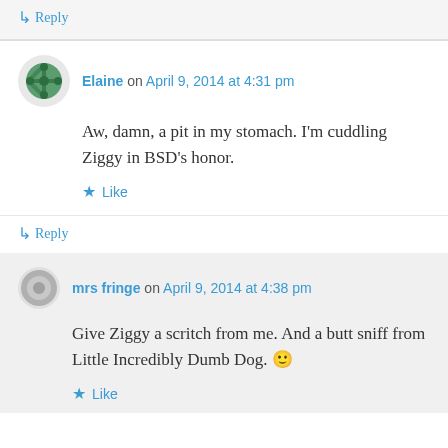↳ Reply
Elaine on April 9, 2014 at 4:31 pm
Aw, damn, a pit in my stomach. I'm cuddling Ziggy in BSD's honor.
Like
↳ Reply
mrs fringe on April 9, 2014 at 4:38 pm
Give Ziggy a scritch from me. And a butt sniff from Little Incredibly Dumb Dog. 🙂
Like